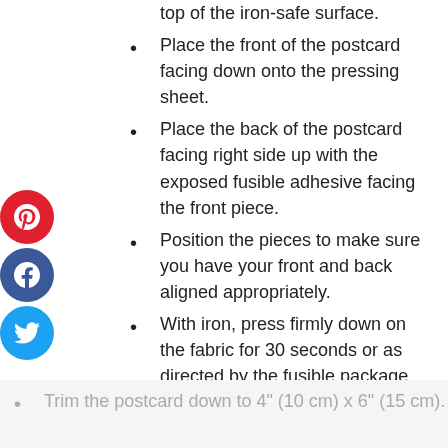top of the iron-safe surface.
Place the front of the postcard facing down onto the pressing sheet.
Place the back of the postcard facing right side up with the exposed fusible adhesive facing the front piece.
Position the pieces to make sure you have your front and back aligned appropriately.
With iron, press firmly down on the fabric for 30 seconds or as directed by the fusible package.
Allow the piece to cool and then gently peel away from the pressing sheet. Remove any bits of fusible that are still attached to the pressing sheet.
Trim the postcard down to 4" (10 cm) x 6" (15 cm).